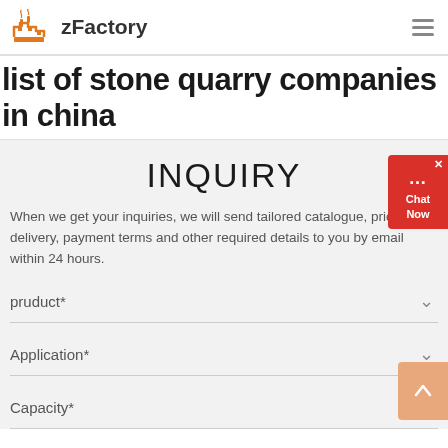zFactory
list of stone quarry companies in china
INQUIRY
When we get your inquiries, we will send tailored catalogue, pricelist, delivery, payment terms and other required details to you by email within 24 hours.
pruduct*
Application*
Capacity*